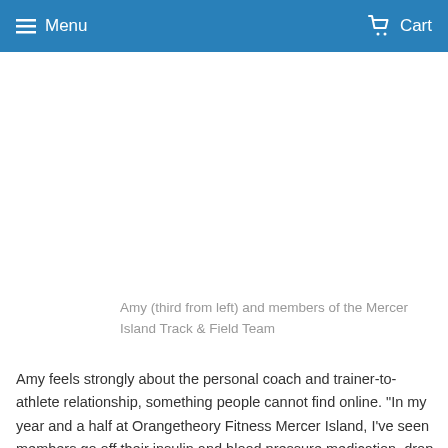Menu   Cart
[Figure (photo): Photo placeholder area showing Amy (third from left) and members of the Mercer Island Track & Field Team]
Amy (third from left) and members of the Mercer Island Track & Field Team
Amy feels strongly about the personal coach and trainer-to-athlete relationship, something people cannot find online. "In my year and a half at Orangetheory Fitness Mercer Island, I've seen members go off their insulin and blood pressure medication, drop two dress sizes before their wedding, train to conquer a mountain and overall improve their confidence. There is no app for that."
More than just a job, her work motivates her at a personal level. "For me, exercise, in any form, keeps me balanced.  It relieves stress,